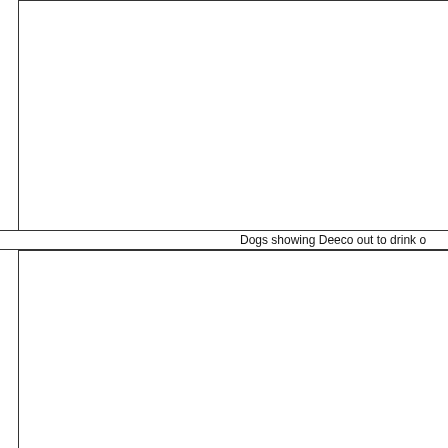[Figure (photo): Top image panel, mostly white/blank, cropped photograph area with left and top border lines.]
Dogs showing Deeco out to drink o
[Figure (photo): Bottom image panel, mostly white/blank, cropped photograph area with left and top border lines.]